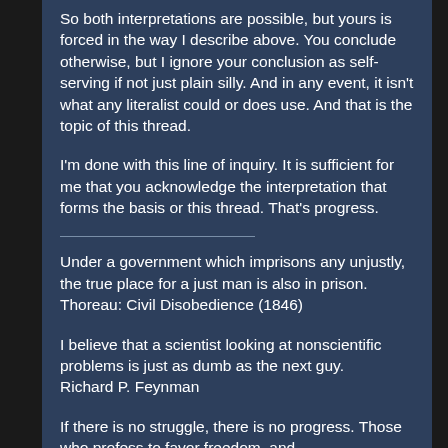So both interpretations are possible, but yours is forced in the way I describe above. You conclude otherwise, but I ignore your conclusion as self-serving if not just plain silly. And in any event, it isn't what any literalist could or does use. And that is the topic of this thread.
I'm done with this line of inquiry. It is sufficient for me that you acknowledge the interpretation that forms the basis or this thread. That's progress.
Under a government which imprisons any unjustly, the true place for a just man is also in prison. Thoreau: Civil Disobedience (1846)
I believe that a scientist looking at nonscientific problems is just as dumb as the next guy.
Richard P. Feynman
If there is no struggle, there is no progress. Those who profess to favor freedom, and